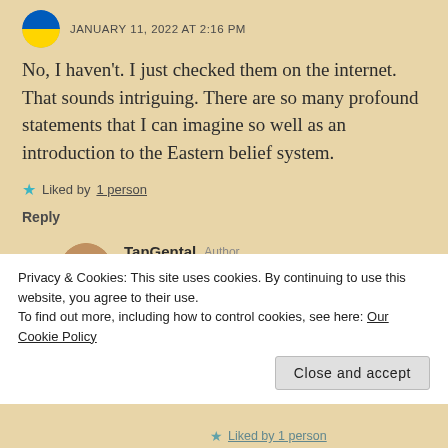JANUARY 11, 2022 AT 2:16 PM
No, I haven't. I just checked them on the internet. That sounds intriguing. There are so many profound statements that I can imagine so well as an introduction to the Eastern belief system.
Liked by 1 person
Reply
TanGental Author JANUARY 11, 2022 AT 4:16 PM
Privacy & Cookies: This site uses cookies. By continuing to use this website, you agree to their use. To find out more, including how to control cookies, see here: Our Cookie Policy
Close and accept
Liked by 1 person